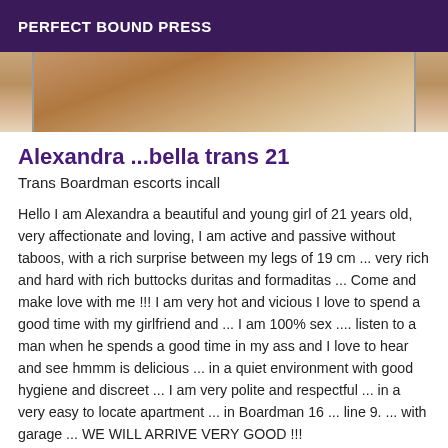PERFECT BOUND PRESS
[Figure (photo): Partial photo of a person, cropped torso area with light blue background]
Alexandra ...bella trans 21
Trans Boardman escorts incall
Hello I am Alexandra a beautiful and young girl of 21 years old, very affectionate and loving, I am active and passive without taboos, with a rich surprise between my legs of 19 cm ... very rich and hard with rich buttocks duritas and formaditas ... Come and make love with me !!! I am very hot and vicious I love to spend a good time with my girlfriend and ... I am 100% sex .... listen to a man when he spends a good time in my ass and I love to hear and see hmmm is delicious ... in a quiet environment with good hygiene and discreet ... I am very polite and respectful ... in a very easy to locate apartment ... in Boardman 16 ... line 9. ... with garage ... WE WILL ARRIVE VERY GOOD !!!